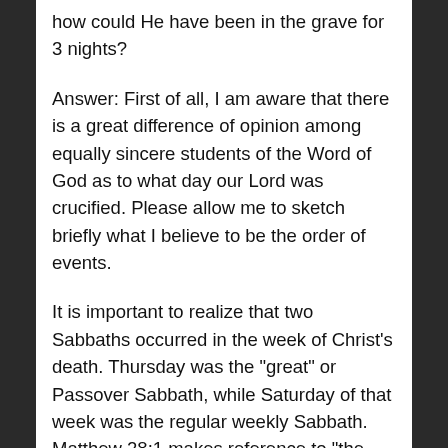how could He have been in the grave for 3 nights?
Answer: First of all, I am aware that there is a great difference of opinion among equally sincere students of the Word of God as to what day our Lord was crucified. Please allow me to sketch briefly what I believe to be the order of events.
It is important to realize that two Sabbaths occurred in the week of Christ’s death. Thursday was the “great” or Passover Sabbath, while Saturday of that week was the regular weekly Sabbath. Matthew 28:1 makes reference to “the end of the Sabbath.” Literally, this statement should read “the Sabbaths having just passed,” or “after the Sabbaths.” The word “Sabbath” in Matthew 28:1 is in the plural, indicating that two Sabbaths occurred that week.